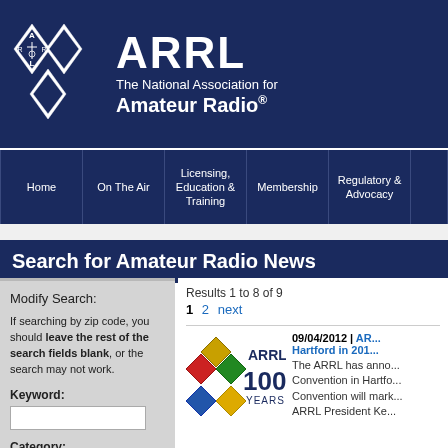[Figure (logo): ARRL logo with diamond shapes and text 'ARRL The National Association for Amateur Radio']
ARRL - The National Association for Amateur Radio
| Home | On The Air | Licensing, Education & Training | Membership | Regulatory & Advocacy |
| --- | --- | --- | --- | --- |
Search for Amateur Radio News
Modify Search:
If searching by zip code, you should leave the rest of the search fields blank, or the search may not work.
Keyword:
Category:
Results 1 to 8 of 9
1  2  next
[Figure (logo): ARRL 100 Years logo with colorful diamond shapes]
09/04/2012 | ARRL ... Hartford in 201... The ARRL has anno... Convention in Hartfo... Convention will mark... ARRL President Ke...